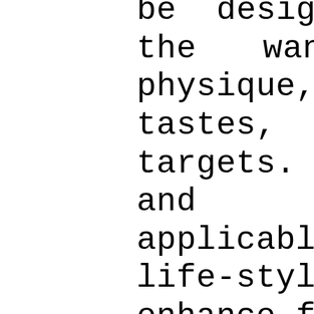be designed to fulill the wants of your physique, schedule, tastes, and fitness targets. Designing and prescribing applicable fitness and life-style programs to enhance fitness and well being begins with with the ability to assess the physical health and way of life habits of oneself or others. Dinger is a fellow of each the American College of Sports Medicine (ACSM) and the Research Consortium of the American Alliance for Health, Physical Education,